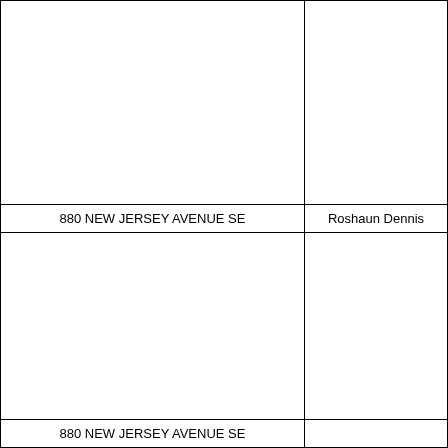|  |  |
| 880 NEW JERSEY AVENUE SE | Roshaun Dennis |
|  |  |
| 880 NEW JERSEY AVENUE SE |  |